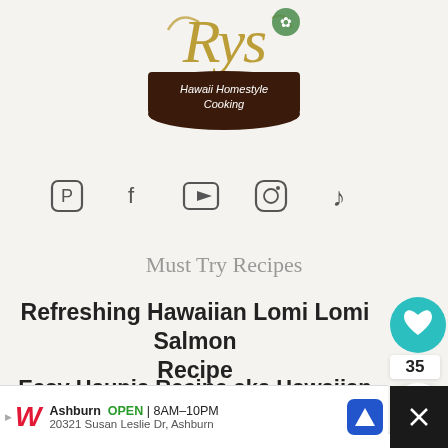[Figure (logo): Logo with decorative swirl text in gold and a dark brown bowl shape with text 'Hawaii Homestyle Cooking']
[Figure (infographic): Row of social media icons: Pinterest, Facebook, YouTube, Instagram, TikTok]
Must Try Recipes
Refreshing Hawaiian Lomi Lomi Salmon Recipe
Easy Haupia Recipe aka Hawaiian Coconut Pudding
Instant Pot Kulolo Recipe Using Only 3
[Figure (infographic): Floating UI elements: teal heart button, '35' badge, share button, 'WHAT'S NEXT' bar with thumbnail and 'Delicious Kamaboko Dip' text]
[Figure (infographic): Advertisement banner: Walgreens logo, 'Ashburn OPEN 8AM-10PM', '20321 Susan Leslie Dr, Ashburn', navigation icon, and X close button]